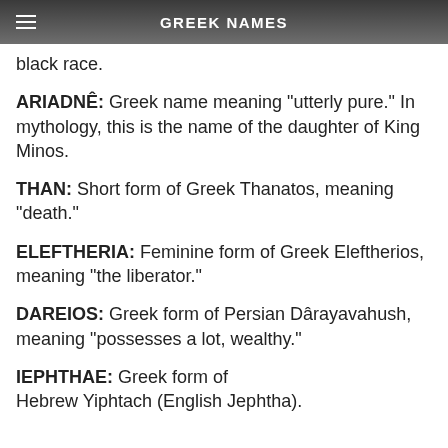GREEK NAMES
black race.
ARIADNÊ:  Greek name meaning "utterly pure." In mythology, this is the name of the daughter of King Minos.
THAN: Short form of Greek Thanatos, meaning "death."
ELEFTHERIA: Feminine form of Greek Eleftherios, meaning "the liberator."
DAREIOS:  Greek form of Persian Dârayavahush, meaning "possesses a lot, wealthy."
IEPHTHAE:  Greek form of Hebrew Yiphtach (English Jephtha).